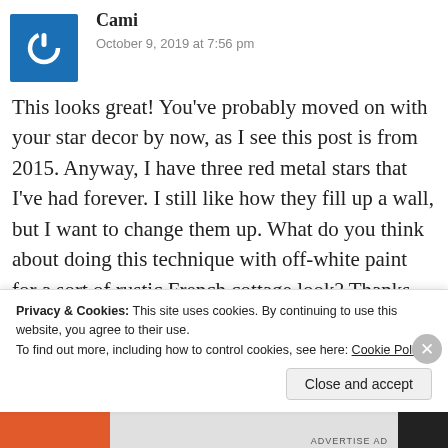[Figure (illustration): Blue square avatar with white power button icon]
Cami
October 9, 2019 at 7:56 pm
This looks great! You've probably moved on with your star decor by now, as I see this post is from 2015. Anyway, I have three red metal stars that I've had forever. I still like how they fill up a wall, but I want to change them up. What do you think about doing this technique with off-white paint for a sort of rustic French cottage look? Thanks for your post, which came up
Privacy & Cookies: This site uses cookies. By continuing to use this website, you agree to their use.
To find out more, including how to control cookies, see here: Cookie Policy
Close and accept